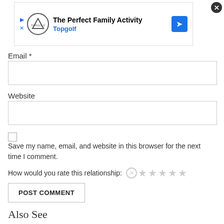[Figure (screenshot): Advertisement banner for Topgolf: 'The Perfect Family Activity' with Topgolf logo and navigation arrow icon. Close button (X) in top right corner.]
Email *
[Figure (screenshot): Empty text input field for Email]
Website
[Figure (screenshot): Empty text input field for Website]
Save my name, email, and website in this browser for the next time I comment.
How would you rate this relationship:
[Figure (screenshot): Star rating widget with 5 empty/gray stars and a gray circle-X reset button]
[Figure (screenshot): POST COMMENT button]
Also See